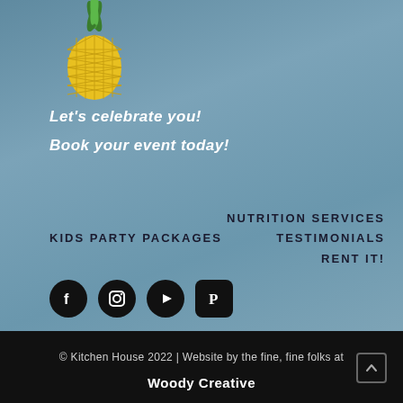[Figure (illustration): Pineapple logo illustration with green leaves on top and yellow body with diamond pattern]
Let's celebrate you!
Book your event today!
NUTRITION SERVICES
KIDS PARTY PACKAGES
TESTIMONIALS
RENT IT!
[Figure (logo): Social media icons: Facebook, Instagram, YouTube, Pinterest]
© Kitchen House 2022 | Website by the fine, fine folks at Woody Creative